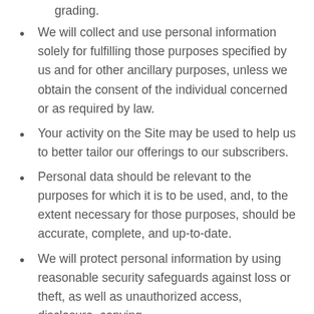grading.
We will collect and use personal information solely for fulfilling those purposes specified by us and for other ancillary purposes, unless we obtain the consent of the individual concerned or as required by law.
Your activity on the Site may be used to help us to better tailor our offerings to our subscribers.
Personal data should be relevant to the purposes for which it is to be used, and, to the extent necessary for those purposes, should be accurate, complete, and up-to-date.
We will protect personal information by using reasonable security safeguards against loss or theft, as well as unauthorized access, disclosure, copying, or modification.